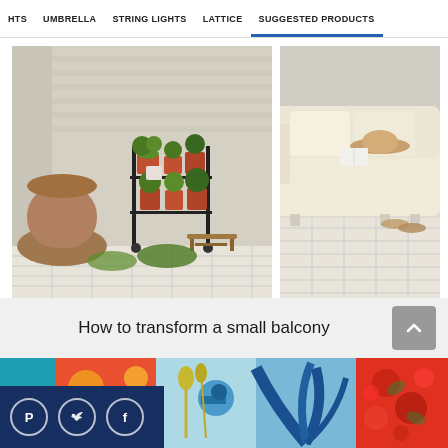HTS   UMBRELLA   STRING LIGHTS   LATTICE   SUGGESTED PRODUCTS
[Figure (photo): Balcony scene with plant stand holding multiple potted plants, large terracotta urn, and small wooden stool on interlocking tile flooring]
[Figure (photo): Outdoor sofa with cream cushions, a hat and book resting on it, with interlocking tile decking visible below]
How to transform a small balcony
[Figure (photo): Row of colorful outdoor cushions with tropical and floral patterns including bird motif, palm leaves, and bright florals]